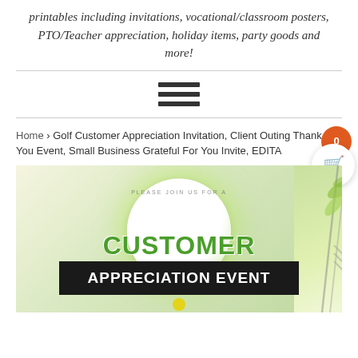printables including invitations, vocational/classroom posters, PTO/Teacher appreciation, holiday items, party goods and more!
[Figure (other): Hamburger menu icon with three horizontal bars]
Home › Golf Customer Appreciation Invitation, Client Outing Thank You Event, Small Business Grateful For You Invite, EDITA
[Figure (photo): Golf Customer Appreciation Event invitation product image showing a golf ball with green glow, text reading CUSTOMER APPRECIATION EVENT on a dark banner, golf club on right side with green leaves/palm fronds in background]